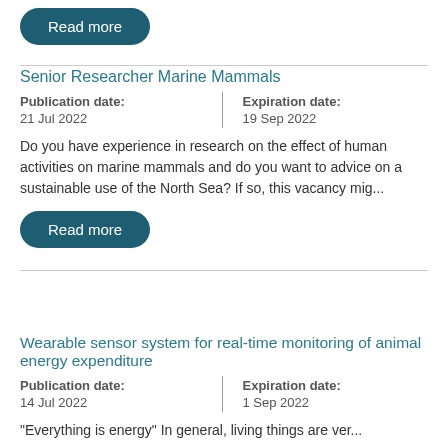Read more
Senior Researcher Marine Mammals
Publication date: 21 Jul 2022
Expiration date: 19 Sep 2022
Do you have experience in research on the effect of human activities on marine mammals and do you want to advice on a sustainable use of the North Sea? If so, this vacancy mig...
Read more
Wearable sensor system for real-time monitoring of animal energy expenditure
Publication date: 14 Jul 2022
Expiration date: 1 Sep 2022
“Everything is energy” In general, living things are ver...